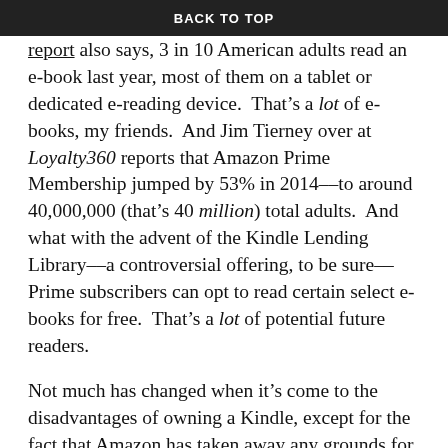BACK TO TOP
but as the aforementioned Pew Research Center report also says, 3 in 10 American adults read an e-book last year, most of them on a tablet or dedicated e-reading device.  That’s a lot of e-books, my friends.  And Jim Tierney over at Loyalty360 reports that Amazon Prime Membership jumped by 53% in 2014––to around 40,000,000 (that’s 40 million) total adults.  And what with the advent of the Kindle Lending Library––a controversial offering, to be sure––Prime subscribers can opt to read certain select e-books for free.  That’s a lot of potential future readers.
Not much has changed when it’s come to the disadvantages of owning a Kindle, except for the fact that Amazon has taken away any grounds for complaint about the graphics, display quality, and user interface.  Their customer support system is pretty nifty, too, and users seem to like it.  No, you still can’t take the Kindle into the bathtub with you, and you probably don’t want to hurl it off the edge of a chair in anger when a chapter really gets to you.